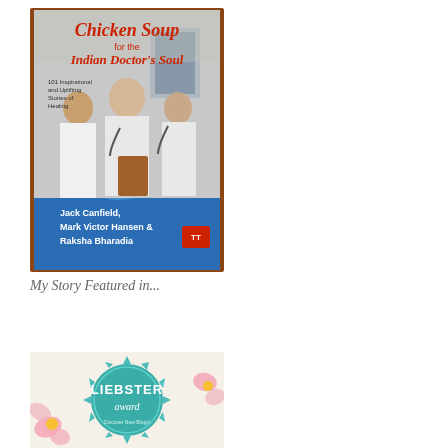[Figure (photo): Book cover of 'Chicken Soup for the Indian Doctor's Soul' by Jack Canfield, Mark Victor Hansen & Raksha Bharadia. Shows three doctors in white coats on the cover with a blue wave design at the bottom.]
My Story Featured in...
[Figure (photo): Liebster Award badge — a teal/mint sunburst seal with 'LIEBSTER award' text and smaller text below, surrounded by pink flowers on a light background.]